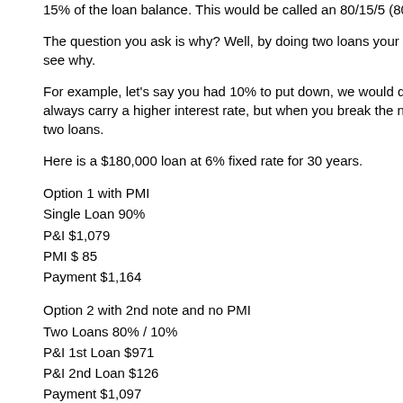15% of the loan balance. This would be called an 80/15/5 (80% 1st Loan, 15% 2...
The question you ask is why? Well, by doing two loans your payment every month... see why.
For example, let's say you had 10% to put down, we would do a 1st loan at 80%... always carry a higher interest rate, but when you break the numbers down, it's ch... two loans.
Here is a $180,000 loan at 6% fixed rate for 30 years.
Option 1 with PMI
Single Loan 90%
P&I $1,079
PMI $ 85
Payment $1,164
Option 2 with 2nd note and no PMI
Two Loans 80% / 10%
P&I 1st Loan $971
P&I 2nd Loan $126
Payment $1,097
In this example, the borrower will save $67 per month by not paying Mortgage Ins...
Depending on the type of loan, the Second Mortgage often times can have an int... be less on a monthly basis. The downside to this solution is your not paying down... you're a first time home buyer with limited cash flow, this would be a viable solutio... the various options for you in writing so you can make an educated decision as to...
If your currently in a loan with mortgage insurance, then you need to speak with ...